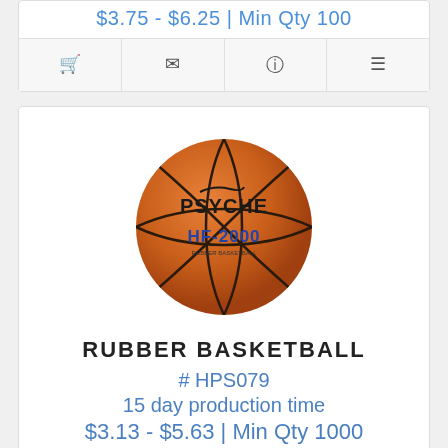$3.75 - $6.25 | Min Qty 100
[Figure (photo): Psyche HF-2000 rubber basketball, orange with black seams and blue text]
RUBBER BASKETBALL
# HPS079
15 day production time
$3.13 - $5.63 | Min Qty 1000